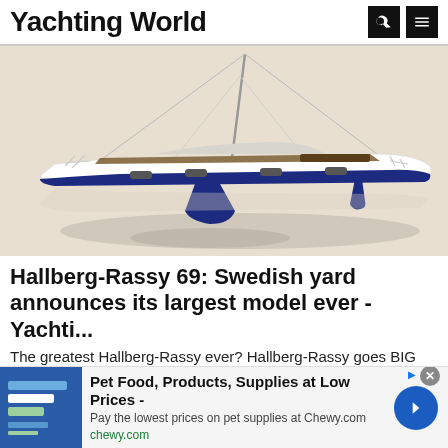Yachting World
[Figure (illustration): 3D render of the Hallberg-Rassy 69 sailing yacht, shown from starboard side. White hull with dark navy blue keel, rudder, and deck stripe. Teak deck visible in cockpit area. Mast, boom, and rigging visible. Reflection visible below on light surface.]
Hallberg-Rassy 69: Swedish yard announces its largest model ever - Yachti...
The greatest Hallberg-Rassy ever? Hallberg-Rassy goes BIG with its new Hallberg-Rassy 69 as the famous yard ...
[Figure (infographic): Advertisement banner for Chewy.com: Pet Food, Products, Supplies at Low Prices - Pay the lowest prices on pet supplies at Chewy.com]